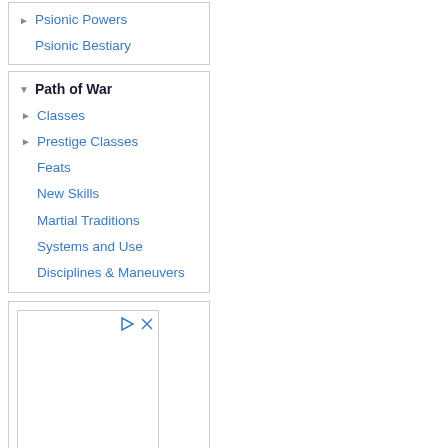Psionic Powers
Psionic Bestiary
Path of War
Classes
Prestige Classes
Feats
New Skills
Martial Traditions
Systems and Use
Disciplines & Maneuvers
[Figure (other): Advertisement box with Western Michigan University Cooley Law School logo (stylized W letter in brown/gold) and institution name text below.]